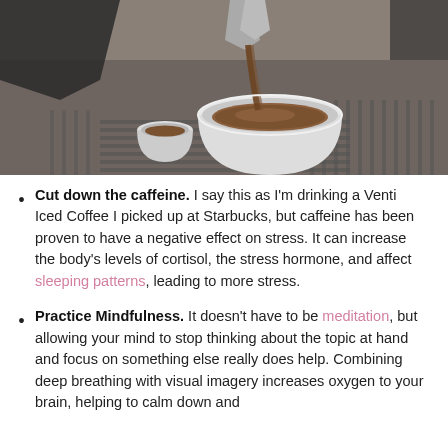[Figure (photo): A close-up photo of espresso being poured into a white ceramic cup on a coffee machine, in black and white with warm brown tones on the coffee.]
Cut down the caffeine. I say this as I'm drinking a Venti Iced Coffee I picked up at Starbucks, but caffeine has been proven to have a negative effect on stress. It can increase the body's levels of cortisol, the stress hormone, and affect sleeping patterns, leading to more stress.
Practice Mindfulness. It doesn't have to be meditation, but allowing your mind to stop thinking about the topic at hand and focus on something else really does help. Combining deep breathing with visual imagery increases oxygen to your brain, helping to calm down and